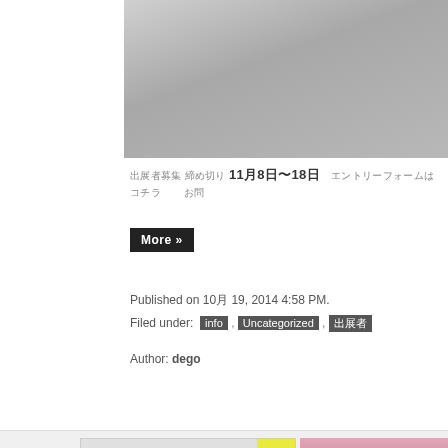[Figure (photo): Gray textured photo at top right of page]
出展者募集 締め切り 11月8日〜18日　エントリーフォームはコチラ　　お問
More »
Published on 10月 19, 2014 4:58 PM.
Filed under: info , Uncategorized , 出展者
Author: dego
[Figure (photo): Degonowa market 5 flyer card — pink italic script title, yellow vertical bar, Japanese text dates 10月17日〜28日, HIFUMI branding]
[Figure (photo): Pink lotus flower close-up photo with text label '05th dego film…']